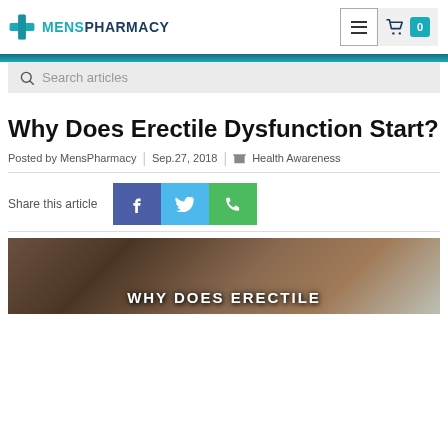[Figure (logo): MensPharmacy logo with teal cross icon and text]
Search articles
Why Does Erectile Dysfunction Start?
Posted by MensPharmacy | Sep.27, 2018 | Health Awareness
Share this article
[Figure (photo): Article hero image showing WHY DOES ERECTILE text overlay on a photo]